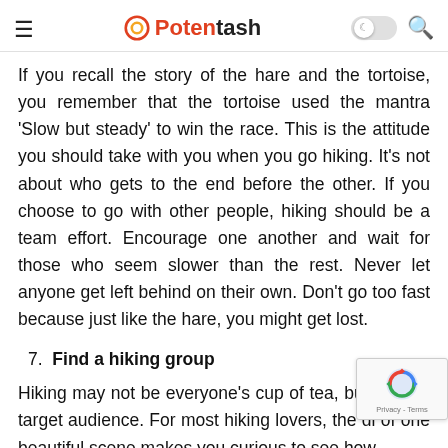Potentash
If you recall the story of the hare and the tortoise, you remember that the tortoise used the mantra ‘Slow but steady’ to win the race. This is the attitude you should take with you when you go hiking. It’s not about who gets to the end before the other. If you choose to go with other people, hiking should be a team effort. Encourage one another and wait for those who seem slower than the rest. Never let anyone get left behind on their own. Don’t go too fast because just like the hare, you might get lost.
7. Find a hiking group
Hiking may not be everyone’s cup of tea, but it su its target audience. For most hiking lovers, the di of one beautiful scene makes you curious to see how